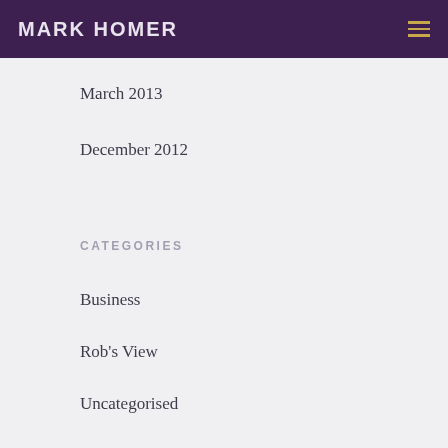MARK HOMER
March 2013
December 2012
CATEGORIES
Business
Rob's View
Uncategorised
Uncategorized